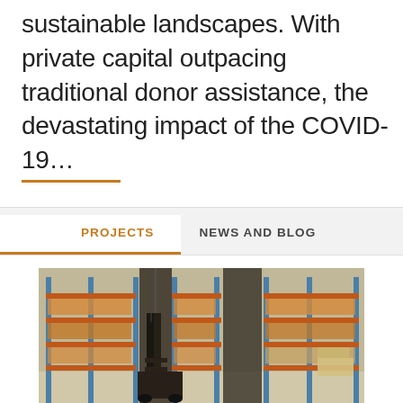sustainable landscapes. With private capital outpacing traditional donor assistance, the devastating impact of the COVID-19...
PROJECTS
NEWS AND BLOG
[Figure (photo): Interior of a warehouse with tall orange and blue metal racking/shelving units filled with goods. A forklift or warehouse equipment is visible in the aisle between the shelving rows.]